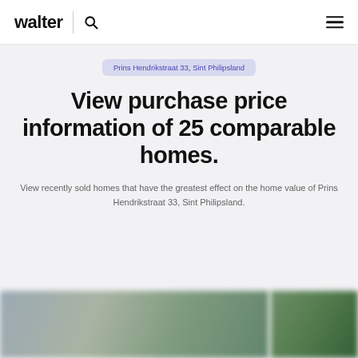walter
Prins Hendrikstraat 33, Sint Philipsland
View purchase price information of 25 comparable homes.
View recently sold homes that have the greatest effect on the home value of Prins Hendrikstraat 33, Sint Philipsland.
[Figure (photo): Blurred photos of comparable homes at the bottom of the page]